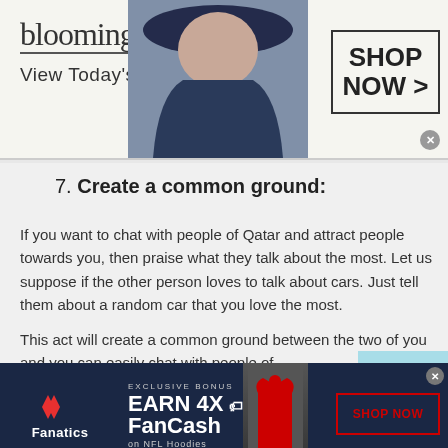[Figure (screenshot): Bloomingdale's advertisement banner with model wearing hat, 'View Today's Top Deals!' text, and 'SHOP NOW >' button]
7. Create a common ground:
If you want to chat with people of Qatar and attract people towards you, then praise what they talk about the most. Let us suppose if the other person loves to talk about cars. Just tell them about a random car that you love the most.
This act will create a common ground between the two of you and you can easily chat with people of
[Figure (screenshot): Fanatics advertisement banner: EXCLUSIVE BONUS EARN 4X FanCash on NFL Hoodies, with hoodie image and SHOP NOW button]